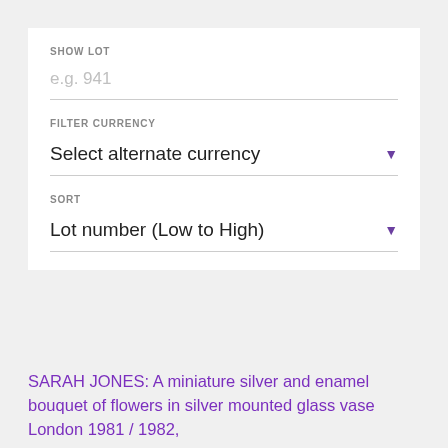SHOW LOT
e.g. 941
FILTER CURRENCY
Select alternate currency
SORT
Lot number (Low to High)
SARAH JONES: A miniature silver and enamel bouquet of flowers in silver mounted glass vase London 1981 / 1982,